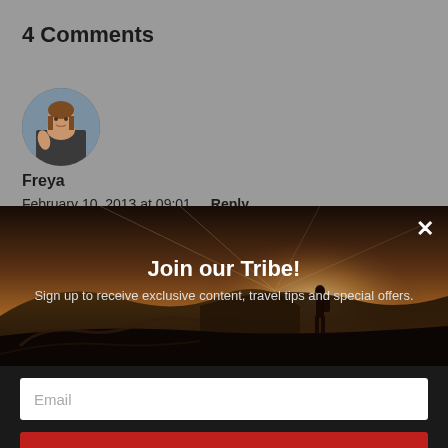4 Comments
[Figure (photo): Circular avatar photo of a woman named Freya, outdoors]
Freya
February 10, 2013 at 09:01   Reply
[Figure (photo): Hero background image of a hillside landscape with sunlight and a person silhouette]
Join our Tribe!
Sign up to receive exclusive content, travel tips and special offers.
Email
SUBSCRIBE